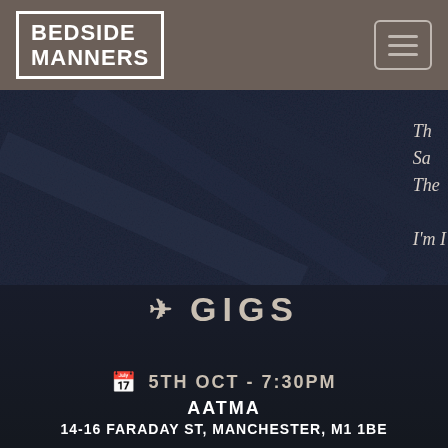BEDSIDE MANNERS
[Figure (screenshot): Dark moody background image resembling a night scene or water, with semi-transparent text overlay on the right side showing partial lyrics or song titles in italic serif font: 'Th...', 'Sa...', 'The...', 'I'm I...']
✈ GIGS
📅 5TH OCT - 7:30PM
AATMA
14-16 FARADAY ST, MANCHESTER, M1 1BE